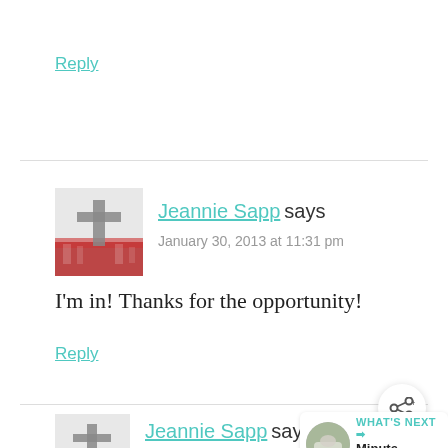Reply
[Figure (illustration): Comment section with avatar of cross and candles, commenter name Jeannie Sapp]
Jeannie Sapp says
January 30, 2013 at 11:31 pm
I'm in! Thanks for the opportunity!
Reply
[Figure (illustration): Avatar of cross and candles, commenter name Jeannie Sapp]
Jeannie Sapp says
January 30, 2013 at 11:33 pm
[Figure (illustration): What's Next widget with thumbnail and text: Minute Microwave...]